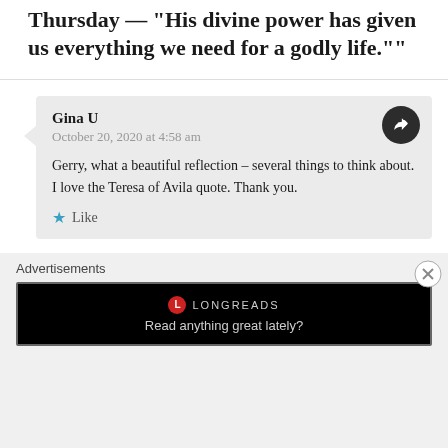Thursday — "His divine power has given us everything we need for a godly life.""
Gina U
October 20, 2020 at 4:58 am

Gerry, what a beautiful reflection – several things to think about. I love the Teresa of Avila quote. Thank you.

Like
Advertisements
[Figure (screenshot): Longreads advertisement banner: circular red logo with 'L', text 'LONGREADS', tagline 'Read anything great lately?']